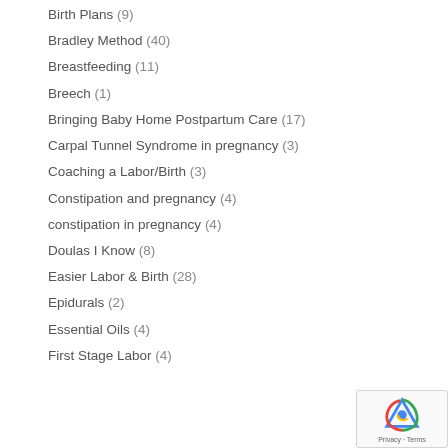Birth Plans (9)
Bradley Method (40)
Breastfeeding (11)
Breech (1)
Bringing Baby Home Postpartum Care (17)
Carpal Tunnel Syndrome in pregnancy (3)
Coaching a Labor/Birth (3)
Constipation and pregnancy (4)
constipation in pregnancy (4)
Doulas I Know (8)
Easier Labor & Birth (28)
Epidurals (2)
Essential Oils (4)
First Stage Labor (4)